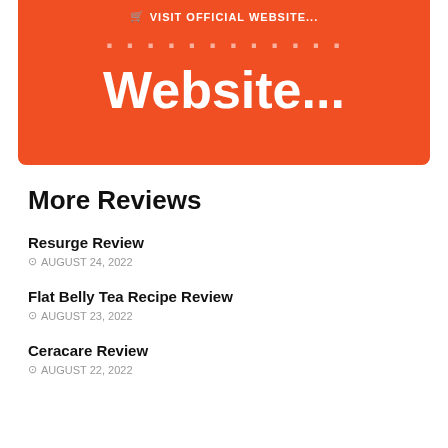[Figure (other): Orange/red promotional banner with shopping cart icon and text 'VISIT OFFICIAL WEBSITE...' at top, then faded 'Visit Official' text, then large white 'Website...' text]
More Reviews
Resurge Review
AUGUST 24, 2022
Flat Belly Tea Recipe Review
AUGUST 23, 2022
Ceracare Review
AUGUST 22, 2022